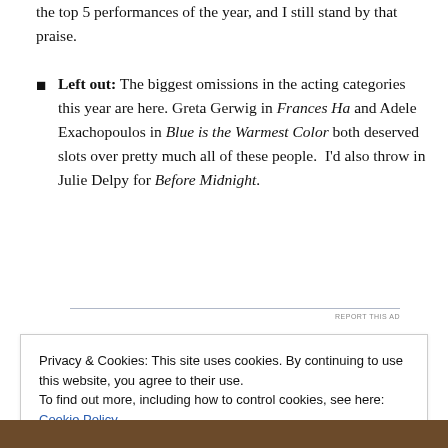the top 5 performances of the year, and I still stand by that praise.
Left out: The biggest omissions in the acting categories this year are here. Greta Gerwig in Frances Ha and Adele Exachopoulos in Blue is the Warmest Color both deserved slots over pretty much all of these people.  I'd also throw in Julie Delpy for Before Midnight.
Privacy & Cookies: This site uses cookies. By continuing to use this website, you agree to their use.
To find out more, including how to control cookies, see here: Cookie Policy
[Figure (photo): Bottom strip of a photo, partially visible at the bottom of the page]